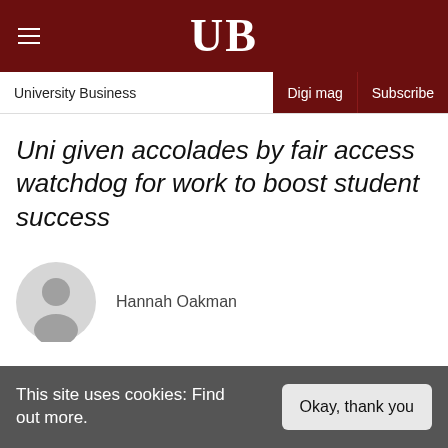UB
University Business | Digi mag | Subscribe
Uni given accolades by fair access watchdog for work to boost student success
Hannah Oakman
This site uses cookies: Find out more.